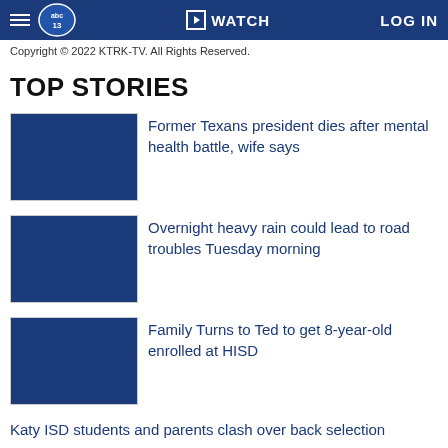ABC13 | WATCH | LOG IN
Copyright © 2022 KTRK-TV. All Rights Reserved.
TOP STORIES
Former Texans president dies after mental health battle, wife says
Overnight heavy rain could lead to road troubles Tuesday morning
Family Turns to Ted to get 8-year-old enrolled at HISD
Katy ISD students and parents clash over back selection